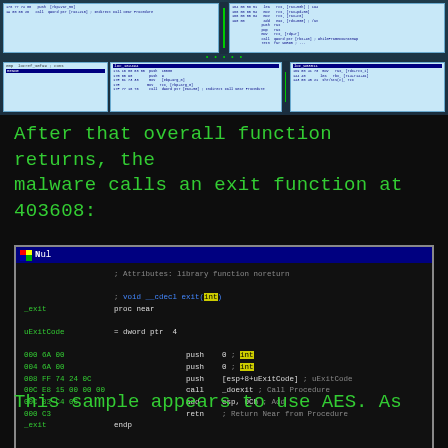[Figure (screenshot): IDA Pro disassembly flowchart view showing multiple code blocks with assembly instructions in a pale blue background window]
After that overall function returns, the malware calls an exit function at 403608:
[Figure (screenshot): IDA Pro disassembly window showing the _exit procedure near: ; Attributes: library function noreturn, ; void __cdecl exit(int), _exit proc near, uExitCode = dword ptr 4, then instructions: 000 6A 00 push 0 ; int, 004 6A 00 push 0 ; int, 008 FF 74 24 0C push [esp+8+uExitCode] ; uExitCode, 00C E8 15 00 00 00 call _doexit ; Call Procedure, 00C 83 C4 0C add esp, 0Ch ; Add, 000 C3 retn ; Return Near from Procedure, _exit endp]
This sample appears to use AES. As